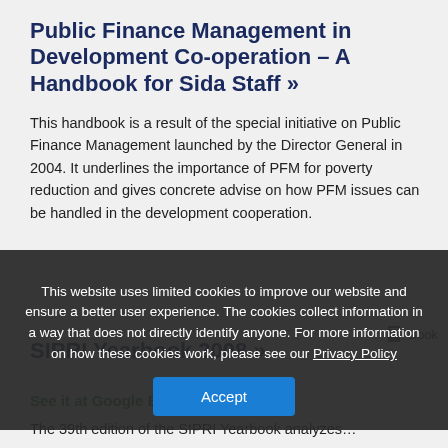Public Finance Management in Development Co-operation – A Handbook for Sida Staff »
This handbook is a result of the special initiative on Public Finance Management launched by the Director General in 2004. It underlines the importance of PFM for poverty reduction and gives concrete advise on how PFM issues can be handled in the development cooperation.
SIPRI Yearbook 2008 »
See it at Google Boo…
The 39th edition of the SIPRI Yearbook analyzes…
This website uses limited cookies to improve our website and ensure a better user experience. The cookies collect information in a way that does not directly identify anyone. For more information on how these cookies work, please see our Privacy Policy